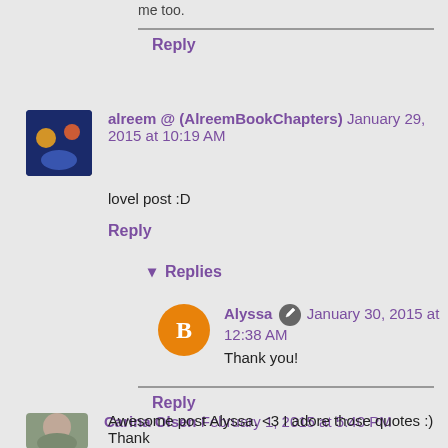me too.
Reply
alreem @ (AlreemBookChapters) January 29, 2015 at 10:19 AM
lovel post :D
Reply
▾ Replies
Alyssa ✏ January 30, 2015 at 12:38 AM
Thank you!
Reply
Carina Olsen February 1, 2015 at 5:40 PM
Awesome post Alyssa. <3 I adore those quotes :) Thank